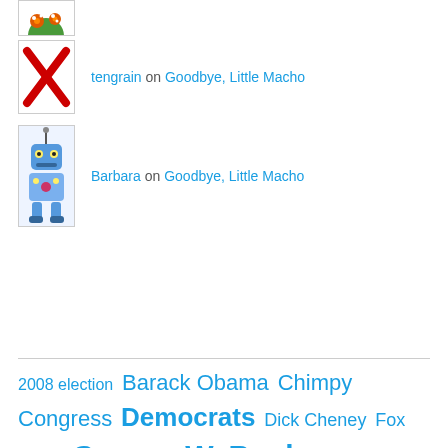[Figure (illustration): Cartoon character avatar (partial, top-cropped) showing a colorful creature]
tengrain on Goodbye, Little Macho
[Figure (illustration): Avatar with red X mark on white background]
Barbara on Goodbye, Little Macho
[Figure (illustration): Blue cartoon robot/alien character]
2008 election Barack Obama Chimpy Congress Democrats Dick Cheney Fox News George W. Bush Hillary Clinton humor Iraq War John Boehner John McCain Justice Department Karl Rove Media Mitch McConnell Mitt Romney movies parody politics Republicans